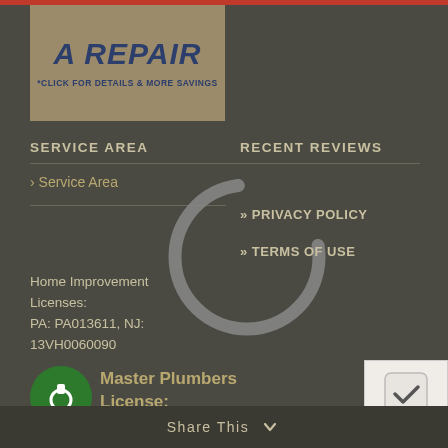[Figure (illustration): Promotional banner with text 'A REPAIR' and '*CLICK FOR DETAILS & MORE SAVINGS' on a tan/khaki background]
SERVICE AREA
RECENT REVIEWS
> Service Area
[Figure (illustration): Loading spinner (circular arc) overlaid on the page]
» PRIVACY POLICY
» TERMS OF USE
Home Improvement Licenses:
PA: PA013611, NJ: 13VH0060090
[Figure (logo): Green circle with phone icon - Master Plumbers logo]
Master Plumbers License:
PA: 031, NJ: 06054
[Figure (illustration): reCAPTCHA checkbox widget]
Share This